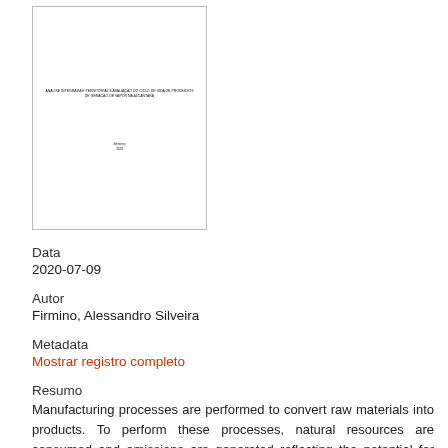[Figure (illustration): Thumbnail image of a document cover page with small text lines at the top and author/date lines near the bottom center.]
Data
2020-07-09
Autor
Firmino, Alessandro Silveira
Metadata
Mostrar registro completo
Resumo
Manufacturing processes are performed to convert raw materials into products. To perform these processes, natural resources are consumed and emissions are generated reflecting the potential for adverse environmental impacts. In order to obtain productive